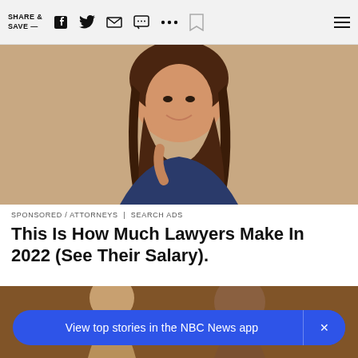SHARE & SAVE —
[Figure (photo): Portrait photo of a smiling young woman with long brown hair, wearing a dark blue top, on a warm beige background.]
SPONSORED / ATTORNEYS | SEARCH ADS
This Is How Much Lawyers Make In 2022 (See Their Salary).
[Figure (photo): Partial photo of people in a warm indoor setting, cropped at bottom of page.]
View top stories in the NBC News app